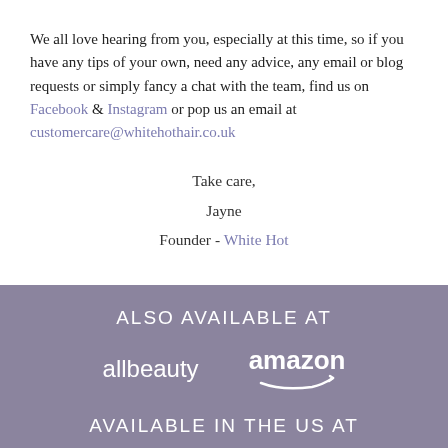We all love hearing from you, especially at this time, so if you have any tips of your own, need any advice, any email or blog requests or simply fancy a chat with the team, find us on Facebook & Instagram or pop us an email at customercare@whitehothair.co.uk
Take care,
Jayne
Founder - White Hot
ALSO AVAILABLE AT
[Figure (logo): allbeauty and amazon logos displayed side by side in white on purple/mauve background]
AVAILABLE IN THE US AT